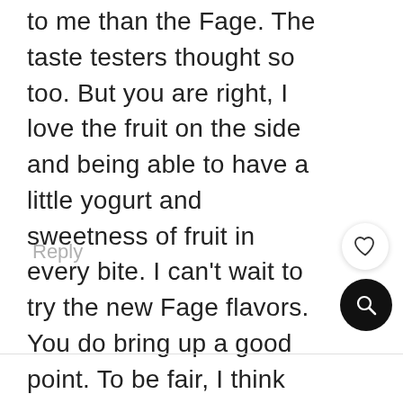to me than the Fage. The taste testers thought so too. But you are right, I love the fruit on the side and being able to have a little yogurt and sweetness of fruit in every bite. I can't wait to try the new Fage flavors. You do bring up a good point. To be fair, I think certain flavors taste better in Chobani and others taste better in Fage.
66
[Figure (illustration): Heart (like) button: white circle with heart icon inside]
[Figure (illustration): Search button: black circle with magnifying glass icon inside]
Reply